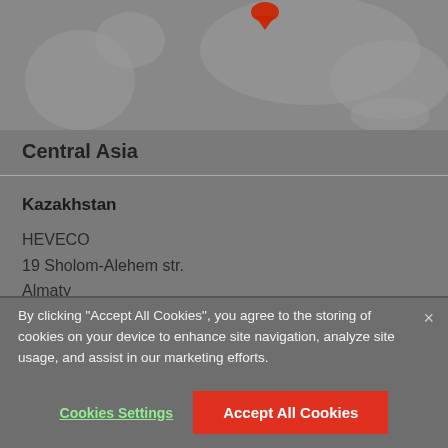[Figure (map): Partial world map graphic, greyed out, showing parts of Asia with a red highlighted marker/pin near Central Asia region]
Central Asia
Kazakhstan
HEVECO
19 Sholom-Alehem str.
Almaty
Kazakhstan
Phone: +7 727 272 2211
Fax: +7 727 272 2244
info@heveco.kz
By clicking "Accept All Cookies", you agree to the storing of cookies on your device to enhance site navigation, analyze site usage, and assist in our marketing efforts.
Cookies Settings
Accept All Cookies